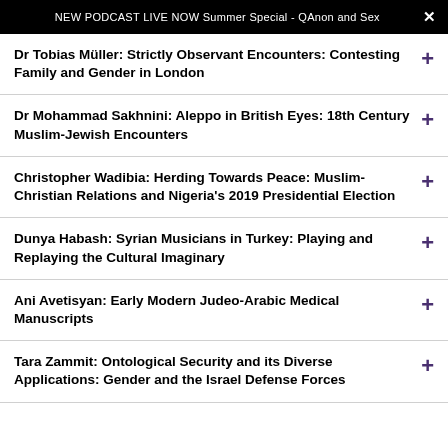NEW PODCAST LIVE NOW Summer Special - QAnon and Sex
Dr Tobias Müller: Strictly Observant Encounters: Contesting Family and Gender in London
Dr Mohammad Sakhnini: Aleppo in British Eyes: 18th Century Muslim-Jewish Encounters
Christopher Wadibia: Herding Towards Peace: Muslim-Christian Relations and Nigeria's 2019 Presidential Election
Dunya Habash: Syrian Musicians in Turkey: Playing and Replaying the Cultural Imaginary
Ani Avetisyan: Early Modern Judeo-Arabic Medical Manuscripts
Tara Zammit: Ontological Security and its Diverse Applications: Gender and the Israel Defense Forces